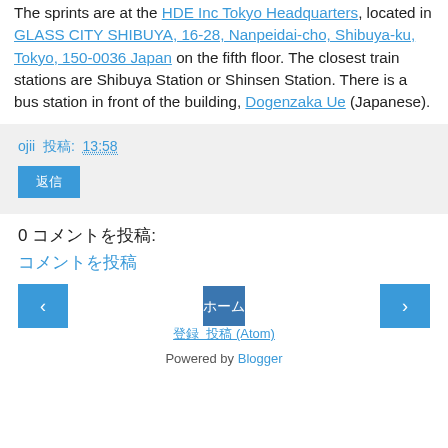The sprints are at the HDE Inc Tokyo Headquarters, located in GLASS CITY SHIBUYA, 16-28, Nanpeidai-cho, Shibuya-ku, Tokyo, 150-0036 Japan on the fifth floor. The closest train stations are Shibuya Station or Shinsen Station. There is a bus station in front of the building, Dogenzaka Ue (Japanese).
ojii 投稿: 13:58
返信
0 コメントを投稿:
コメントを投稿
‹ › ホーム
登録 投稿 (Atom)
Powered by Blogger